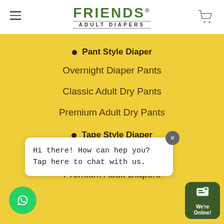FRIENDS ADULT DIAPERS
Pant Style Diaper
Overnight Diaper Pants
Classic Adult Dry Pants
Premium Adult Dry Pants
Tape Style Diaper
Hi there! How can hep you? Tap here to chat with us.
Economy Adult Diapers
Premium Adult Diapers